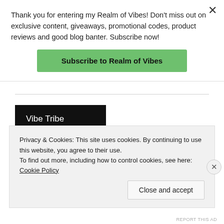Thank you for entering my Realm of Vibes! Don't miss out on exclusive content, giveaways, promotional codes, product reviews and good blog banter. Subscribe now!
Subscribe to Realm of Vibes
Vibe Tribe
Follow Realm of Vibes
Privacy & Cookies: This site uses cookies. By continuing to use this website, you agree to their use.
To find out more, including how to control cookies, see here: Cookie Policy
Close and accept